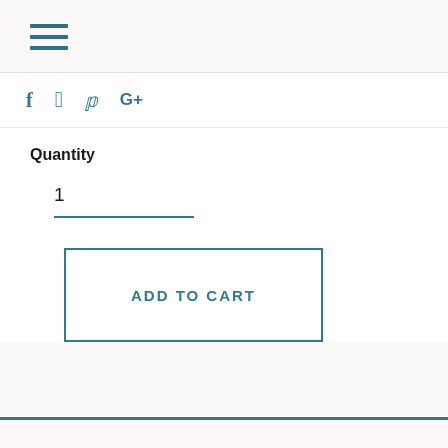[Figure (other): Hamburger menu icon with three horizontal lines in teal/dark blue color]
[Figure (other): Social media icons row: f (Facebook), bird/twitter, p (Pinterest), G+ (Google Plus) in teal color]
Quantity
1
ADD TO CART